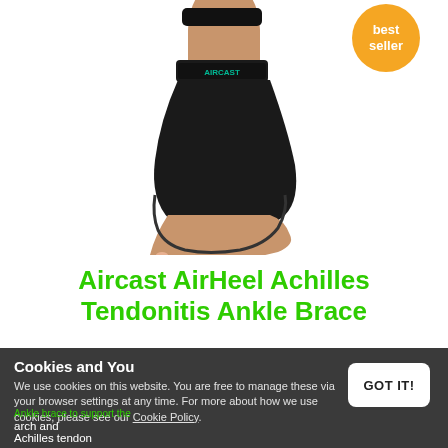[Figure (photo): Photo of a human foot and ankle wearing a black Aircast AirHeel Achilles Tendonitis Ankle Brace. The brace is black with a teal/green Aircast logo strap around the ankle. A best seller badge (gold circle) is visible in the top right corner.]
Aircast AirHeel Achilles Tendonitis Ankle Brace
£41.98
Cookies and You
We use cookies on this website. You are free to manage these via your browser settings at any time. For more about how we use cookies, please see our Cookie Policy.
GOT IT!
Ankle brace to support the arch and Achilles tendon